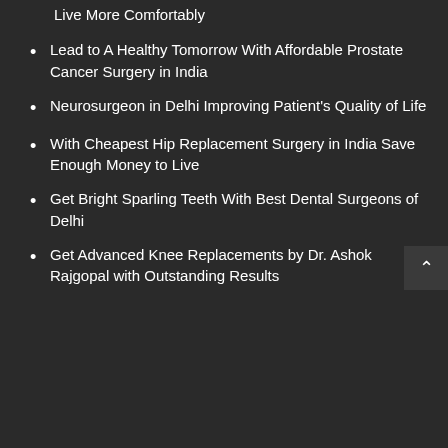Live More Comfortably
Lead to A Healthy Tomorrow With Affordable Prostate Cancer Surgery in India
Neurosurgeon in Delhi Improving Patient's Quality of Life
With Cheapest Hip Replacement Surgery in India Save Enough Money to Live
Get Bright Sparling Teeth With Best Dental Surgeons of Delhi
Get Advanced Knee Replacements by Dr. Ashok Rajgopal with Outstanding Results